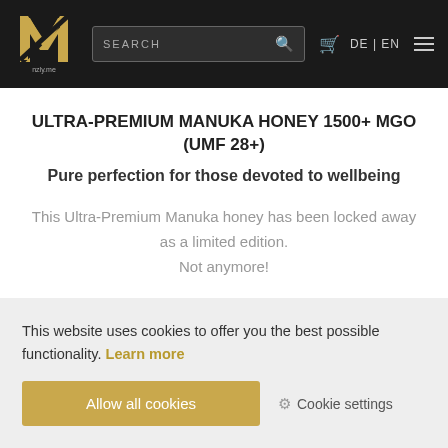nzly.me — SEARCH | DE | EN
ULTRA-PREMIUM MANUKA HONEY 1500+ MGO (UMF 28+)
Pure perfection for those devoted to wellbeing
This Ultra-Premium Manuka honey has been locked away as a limited edition. Not anymore!
This website uses cookies to offer you the best possible functionality. Learn more
Allow all cookies
Cookie settings